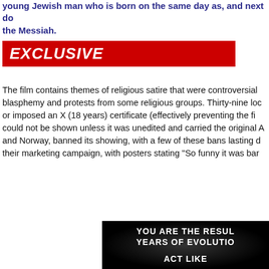young Jewish man who is born on the same day as, and next door to, the Messiah.
EXCLUSIVE
The film contains themes of religious satire that were controversial, leading to accusations of blasphemy and protests from some religious groups. Thirty-nine local authorities either banned it or imposed an X (18 years) certificate (effectively preventing the film being shown). In Ireland, it could not be shown unless it was unedited and carried the original AA certificate. Two countries, and Norway, banned its showing, with a few of these bans lasting decades. Python used this in their marketing campaign, with posters stating "So funny it was ban
[Figure (screenshot): Dark background film still or promotional image with white bold uppercase text reading 'YOU ARE THE RESUL... YEARS OF EVOLUTIO...' and below 'ACT LIKE']